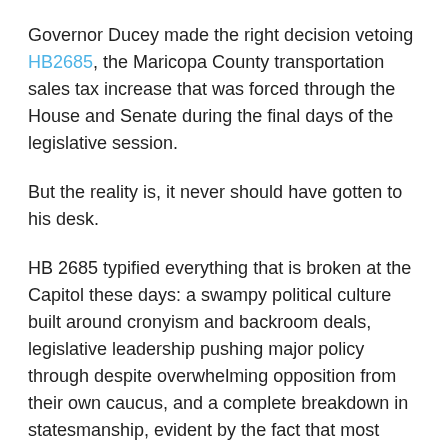Governor Ducey made the right decision vetoing HB2685, the Maricopa County transportation sales tax increase that was forced through the House and Senate during the final days of the legislative session.
But the reality is, it never should have gotten to his desk.
HB 2685 typified everything that is broken at the Capitol these days: a swampy political culture built around cronyism and backroom deals, legislative leadership pushing major policy through despite overwhelming opposition from their own caucus, and a complete breakdown in statesmanship, evident by the fact that most Republican lawmakers that supported the bill never actually read it or the MAG transportation plan that underpinned the legislation.
It is highly unlikely that a bill like this would have even